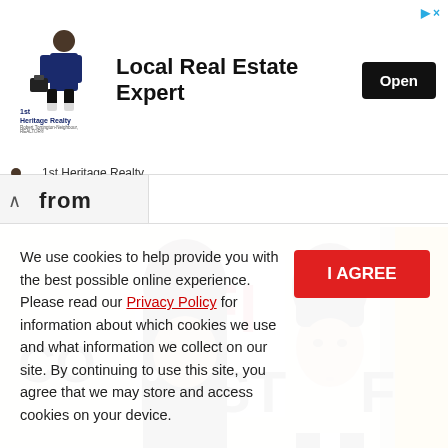[Figure (other): Advertisement banner for 1st Heritage Realty showing logo with a realtor figure, text 'Local Real Estate Expert' and an Open button]
[Figure (photo): Photo of two celebrities at AFI FEST red carpet event — a woman with dark hair and a man in a suit]
We use cookies to help provide you with the best possible online experience. Please read our Privacy Policy for information about which cookies we use and what information we collect on our site. By continuing to use this site, you agree that we may store and access cookies on your device.